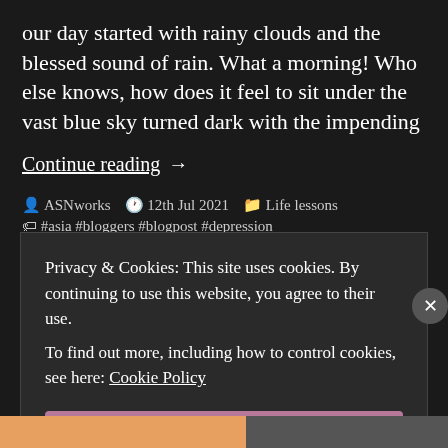our day started with rainy clouds and the blessed sound of rain. What a morning! Who else knows, how does it feel to sit under the vast blue sky turned dark with the impending
Continue reading  →
ASNworks   12th Jul 2021   Life lessons
#asia  #bloggers  #blogpost  #depression
Privacy & Cookies: This site uses cookies. By continuing to use this website, you agree to their use.
To find out more, including how to control cookies, see here: Cookie Policy
Close and accept